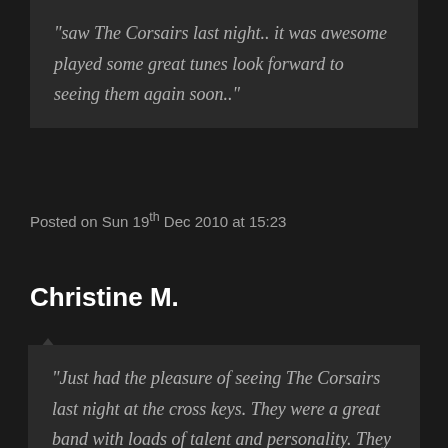“saw The Corsairs last night.. it was awesome played some great tunes look forward to seeing them again soon..”
Posted on Sun 19th Dec 2010 at 15:23
Christine M.
“Just had the pleasure of seeing The Corsairs last night at the cross keys. They were a great band with loads of talent and personality. They played a lot of great music and had the pub dancing in no time. They